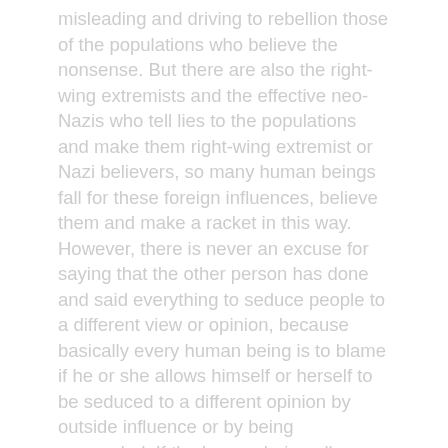misleading and driving to rebellion those of the populations who believe the nonsense. But there are also the right-wing extremists and the effective neo-Nazis who tell lies to the populations and make them right-wing extremist or Nazi believers, so many human beings fall for these foreign influences, believe them and make a racket in this way. However, there is never an excuse for saying that the other person has done and said everything to seduce people to a different view or opinion, because basically every human being is to blame if he or she allows himself or herself to be seduced to a different opinion by outside influence or by being persuaded. If the human being allows himself to be persuaded and thereby accepts or believes in a different view or opinion, he unrestrainedly allows his new attitude to break through, which, however, has in truth already lain dormant deep in his character and from then on, through the new opinion, breaks out at every suitable and unsuitable opportunity. This then leads to Gewalt